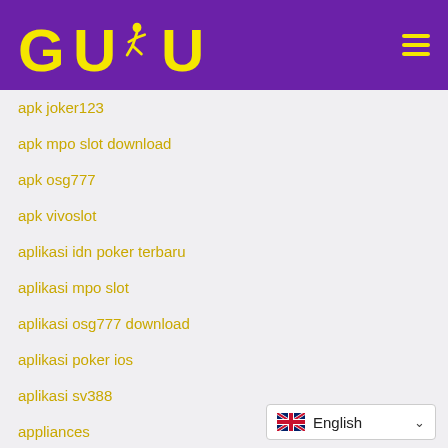[Figure (logo): GUBU logo with running figure in yellow on purple background, with hamburger menu icon]
apk joker123
apk mpo slot download
apk osg777
apk vivoslot
aplikasi idn poker terbaru
aplikasi mpo slot
aplikasi osg777 download
aplikasi poker ios
aplikasi sv388
appliances
Archery
ardahan escort
[Figure (other): Language selector widget showing UK flag and 'English' with dropdown arrow]